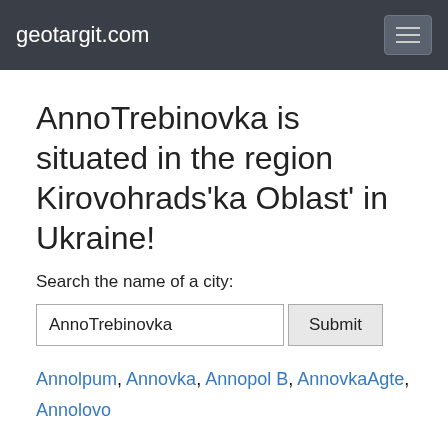geotargit.com
AnnoTrebinovka is situated in the region Kirovohrads'ka Oblast' in Ukraine!
Search the name of a city:
AnnoTrebinovka  Submit
Annolpum, Annovka, Annopol B, AnnovkaAgte, Annolovo
Here you will find the location of AnnoTrebinovka on a map.
To see how it currently looks like outside, below are